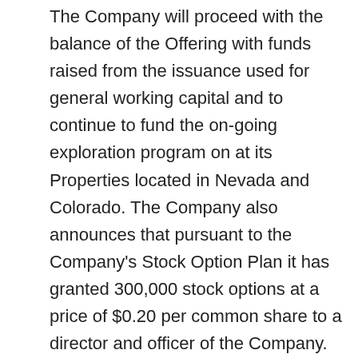The Company will proceed with the balance of the Offering with funds raised from the issuance used for general working capital and to continue to fund the on-going exploration program on at its Properties located in Nevada and Colorado. The Company also announces that pursuant to the Company's Stock Option Plan it has granted 300,000 stock options at a price of $0.20 per common share to a director and officer of the Company. The option grant will vest immediately. As per the Company's Stock Option Plan, the options granted are exercisable until December 1, 2019.  Grant of the options is subject to the approval of the TSX Venture Exchange.
About Minquest Mining (TSX.V: MMI)